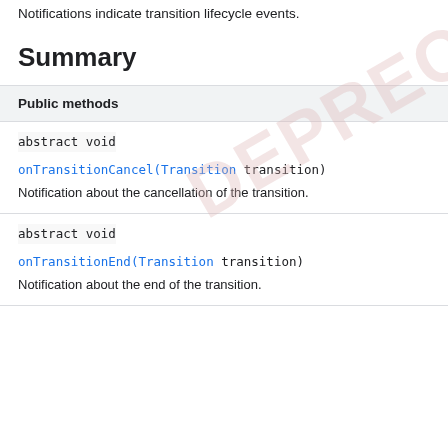Notifications indicate transition lifecycle events.
Summary
| Public methods |
| --- |
| abstract void | onTransitionCancel(Transition transition) | Notification about the cancellation of the transition. |
| abstract void | onTransitionEnd(Transition transition) | Notification about the end of the transition. |